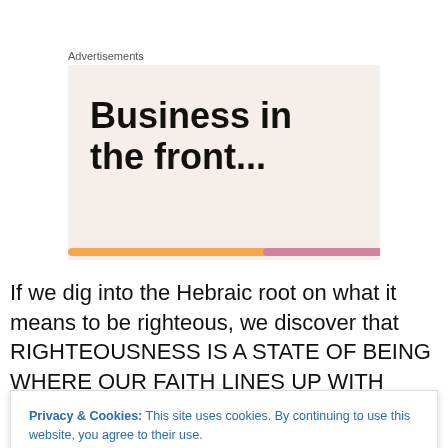Advertisements
[Figure (illustration): Advertisement banner with text 'Business in the front...' on a light pinkish-beige background with a colorful stripe at the bottom]
If we dig into the Hebraic root on what it means to be righteous, we discover that RIGHTEOUSNESS IS A STATE OF BEING WHERE OUR FAITH LINES UP WITH
Privacy & Cookies: This site uses cookies. By continuing to use this website, you agree to their use. To find out more, including how to control cookies, see here: Cookie Policy
Close and accept
6,35,33,56), which points to creation and the messenger